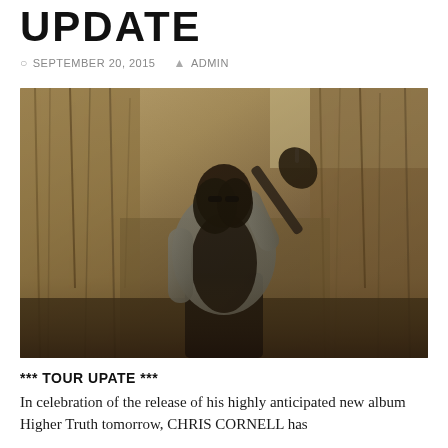UPDATE
SEPTEMBER 20, 2015  ADMIN
[Figure (photo): Man with long dark hair and sunglasses holding a guitar over his shoulder, standing in a field of tall dry grass and reeds, wearing a grey jacket over a black shirt, warm sepia-toned outdoor photograph]
*** TOUR UPATE ***
In celebration of the release of his highly anticipated new album Higher Truth tomorrow, CHRIS CORNELL has